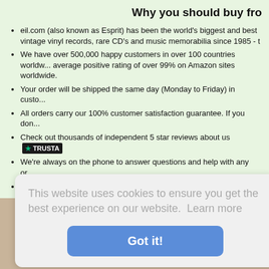Why you should buy fro
eil.com (also known as Esprit) has been the world's biggest and best vintage vinyl records, rare CD's and music memorabilia since 1985 - t
We have over 500,000 happy customers in over 100 countries worldw... average positive rating of over 99% on Amazon sites worldwide.
Your order will be shipped the same day (Monday to Friday) in custo...
All orders carry our 100% customer satisfaction guarantee. If you don...
Check out thousands of independent 5 star reviews about us [TRUSTPILOT]
We're always on the phone to answer questions and help with any or...
We reply to emails in minutes and hours, not days.
It is 100% safe and secure to order from us as we have been indepen... transmitted using 128 bit encryption with 'Extended Validation SSL' a... using the strictest authentication standard. See the padlock symbol s...
This website uses cookies to ensure you get the best experience on our website.  Learn more
Got it!